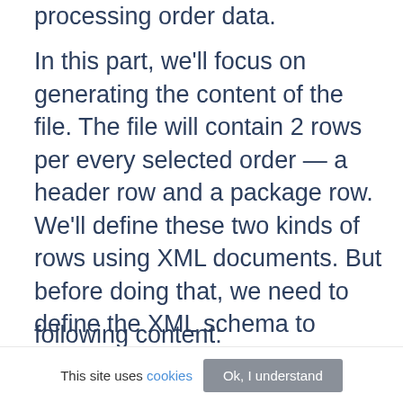processing order data.
In this part, we'll focus on generating the content of the file. The file will contain 2 rows per every selected order — a header row and a package row. We'll define these two kinds of rows using XML documents. But before doing that, we need to define the XML schema to describe the structure of the row itself. Create an edi_order_row.xsd file in the etc directory of the module with the following content:
This site uses cookies